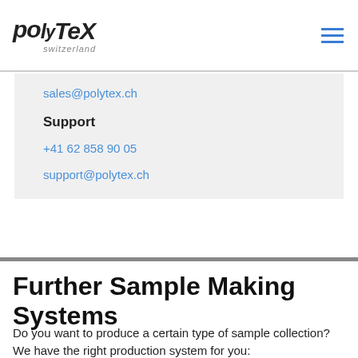polytex switzerland
sales@polytex.ch
Support
+41 62 858 90 05
support@polytex.ch
Further Sample Making Systems
Do you want to produce a certain type of sample collection? We have the right production system for you: